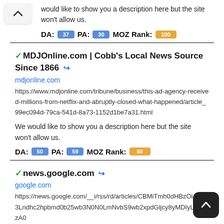would like to show you a description here but the site won't allow us.
DA: 37  PA: 30  MOZ Rank: 100
✓MDJOnline.com | Cobb's Local News Source Since 1866 🔗
mdjonline.com
https://www.mdjonline.com/tribune/business/this-ad-agency-received-millions-from-netflix-and-abruptly-closed-what-happened/article_99ec094d-79ca-541d-8a73-1152d1be7a31.html
We would like to show you a description here but the site won't allow us.
DA: 50  PA: 59  MOZ Rank: 60
✓news.google.com 🔗
google.com
https://news.google.com/__i/rss/rd/articles/CBMiTmh0dHBzOi3Lndhc2hpbmd0b25wb3N0N0LmNvbS9wb2xpdGljcy8yMDIyLzA4LzA0